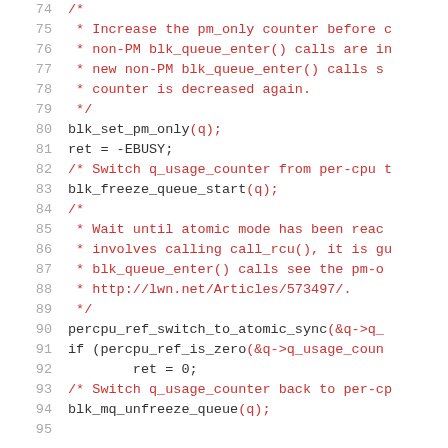[Figure (screenshot): Source code listing showing lines 74-95 of a C kernel function related to block queue PM-only and freeze operations. Line numbers in gray on the left, code in dark red/maroon monospace font on the right. Comments in a similar red tone. Code includes blk_set_pm_only, ret = -EBUSY, blk_freeze_queue_start, percpu_ref_switch_to_atomic_sync, if percpu_ref_is_zero, ret = 0, blk_mq_unfreeze_queue.]